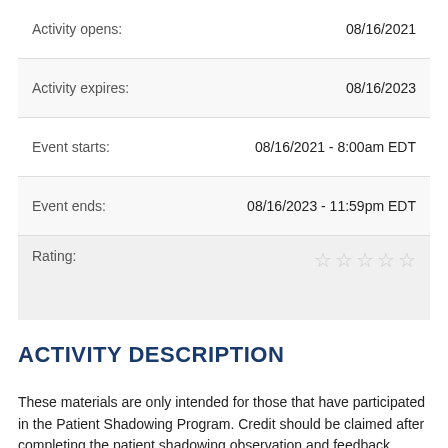| Activity opens: | 08/16/2021 |
| Activity expires: | 08/16/2023 |
| Event starts: | 08/16/2021 - 8:00am EDT |
| Event ends: | 08/16/2023 - 11:59pm EDT |
| Rating: | ☆☆☆☆☆ |
ACTIVITY DESCRIPTION
These materials are only intended for those that have participated in the Patient Shadowing Program. Credit should be claimed after completing the patient shadowing observation and feedback process.
Provided by
This activity is jointly provided by OptumHealth Education and Reliant Medical Group.